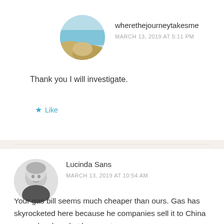[Figure (photo): Circular avatar image showing a coastal landscape with water and grass/dunes]
wherethejourneytakesme
MARCH 13, 2019 AT 5:11 PM
Thank you I will investigate.
Like
[Figure (photo): Circular avatar image showing a black and white photo of a young child]
Lucinda Sans
MARCH 13, 2019 AT 10:54 AM
Your gas bill seems much cheaper than ours. Gas has skyrocketed here because he companies sell it to China so our local market loses out.